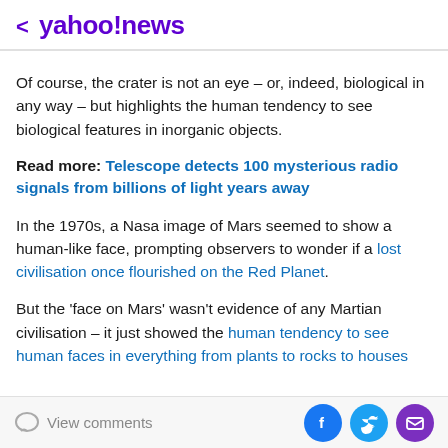< yahoo!news
Of course, the crater is not an eye – or, indeed, biological in any way – but highlights the human tendency to see biological features in inorganic objects.
Read more: Telescope detects 100 mysterious radio signals from billions of light years away
In the 1970s, a Nasa image of Mars seemed to show a human-like face, prompting observers to wonder if a lost civilisation once flourished on the Red Planet.
But the 'face on Mars' wasn't evidence of any Martian civilisation – it just showed the human tendency to see human faces in everything from plants to rocks to houses
View comments